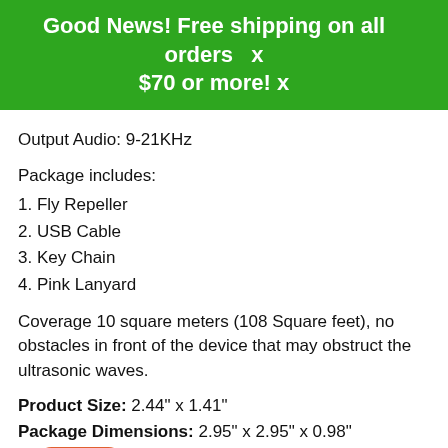Good News! Free shipping on all orders $70 or more!
Output Audio: 9-21KHz
Package includes:
1. Fly Repeller
2. USB Cable
3. Key Chain
4. Pink Lanyard
Coverage 10 square meters (108 Square feet), no obstacles in front of the device that may obstruct the ultrasonic waves.
Product Size: 2.44" x 1.41"
Package Dimensions: 2.95" x 2.95" x 0.98"
W[Help]1 Ounces